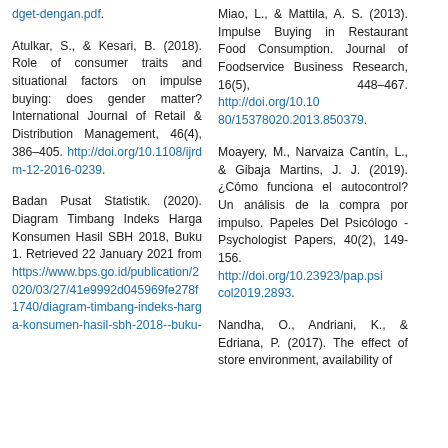dget-dengan.pdf.
Atulkar, S., & Kesari, B. (2018). Role of consumer traits and situational factors on impulse buying: does gender matter? International Journal of Retail & Distribution Management, 46(4), 386–405. http://doi.org/10.1108/ijrdm-12-2016-0239.
Badan Pusat Statistik. (2020). Diagram Timbang Indeks Harga Konsumen Hasil SBH 2018, Buku 1. Retrieved 22 January 2021 from https://www.bps.go.id/publication/2020/03/27/41e9992d045969fe278f1740/diagram-timbang-indeks-harga-konsumen-hasil-sbh-2018--buku-
Miao, L., & Mattila, A. S. (2013). Impulse Buying in Restaurant Food Consumption. Journal of Foodservice Business Research, 16(5), 448–467. http://doi.org/10.1080/15378020.2013.850379.
Moayery, M., Narvaiza Cantín, L., & Gibaja Martins, J. J. (2019). ¿Cómo funciona el autocontrol? Un análisis de la compra por impulso. Papeles Del Psicólogo - Psychologist Papers, 40(2), 149-156. http://doi.org/10.23923/pap.psicol2019.2893.
Nandha, O., Andriani, K., & Edriana, P. (2017). The effect of store environment, availability of